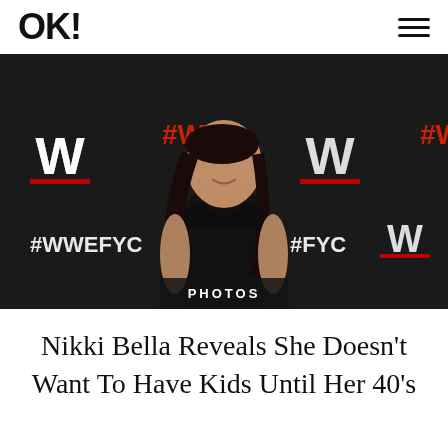OK!
[Figure (photo): Nikki Bella posing at a WWE event red carpet backdrop with #WWEFYC branding, wearing a black outfit, smiling, with a PHOTOS label overlay at the bottom center]
Nikki Bella Reveals She Doesn't Want To Have Kids Until Her 40's